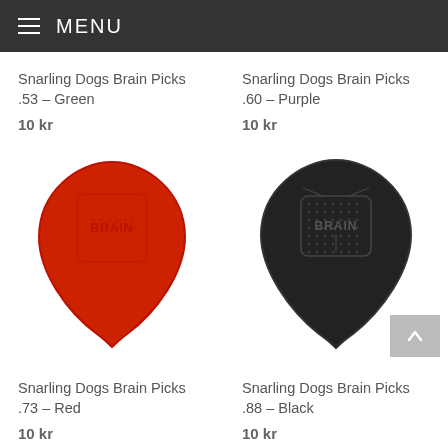MENU
Snarling Dogs Brain Picks .53 – Green
10 kr
Snarling Dogs Brain Picks .60 – Purple
10 kr
[Figure (photo): Red guitar pick with textured grip area and BRAIN text in center]
[Figure (photo): Black guitar pick with textured grip area and BRAIN text in center]
Snarling Dogs Brain Picks .73 – Red
10 kr
Snarling Dogs Brain Picks .88 – Black
10 kr